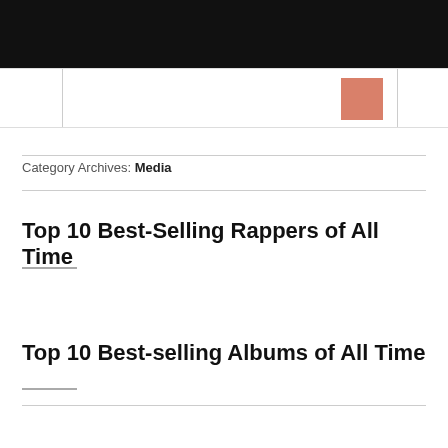Category Archives: Media
Top 10 Best-Selling Rappers of All Time
Top 10 Best-selling Albums of All Time